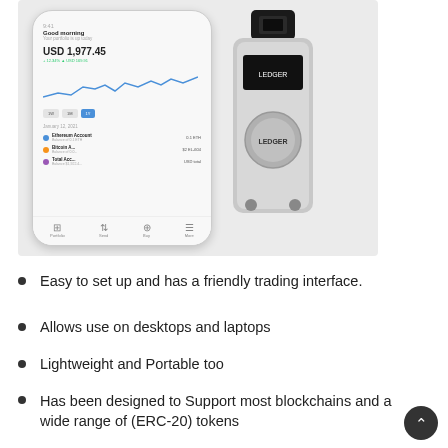[Figure (photo): A smartphone displaying a cryptocurrency portfolio app (Ledger Live) with account balances, a line chart, and account rows, alongside a physical Ledger Nano S hardware wallet device, on a light grey background.]
Easy to set up and has a friendly trading interface.
Allows use on desktops and laptops
Lightweight and Portable too
Has been designed to Support most blockchains and a wide range of (ERC-20) tokens